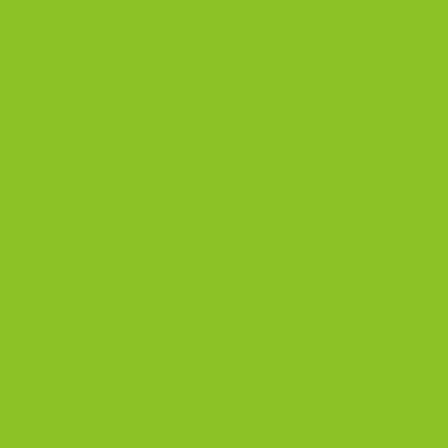[Figure (photo): Green sidebar panel on left side of page]
| Image | Brand | Game |
| --- | --- | --- |
| [photo of Mickey/Donald cartridge] | Intrek | Mic... Do... |
| [no image] | OTOYS (OTO) | Mic... Do... Top... Pap... |
| [photo of Oil Panic cartridge] | Nintendo | Oil |
| [no image] | Pocketsize | Oil |
| [partial row] |  |  |